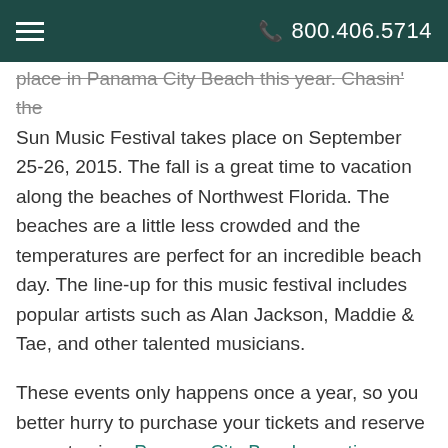800.406.5714
place in Panama City Beach this year. Chasin' the Sun Music Festival takes place on September 25-26, 2015. The fall is a great time to vacation along the beaches of Northwest Florida. The beaches are a little less crowded and the temperatures are perfect for an incredible beach day. The line-up for this music festival includes popular artists such as Alan Jackson, Maddie & Tae, and other talented musicians.
These events only happens once a year, so you better hurry to purchase your tickets and reserve your stay in a Panama City Beach vacation rental. Southern Vacation Rentals offers a wide variety of homes and condos in Panama City Beach. With